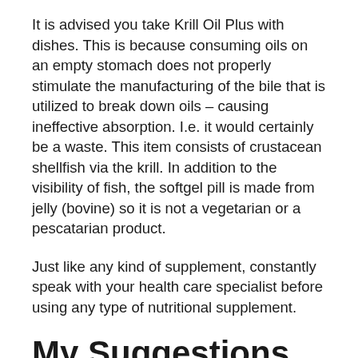It is advised you take Krill Oil Plus with dishes. This is because consuming oils on an empty stomach does not properly stimulate the manufacturing of the bile that is utilized to break down oils – causing ineffective absorption. I.e. it would certainly be a waste. This item consists of crustacean shellfish via the krill. In addition to the visibility of fish, the softgel pill is made from jelly (bovine) so it is not a vegetarian or a pescatarian product.
Just like any kind of supplement, constantly speak with your health care specialist before using any type of nutritional supplement.
My Suggestions,